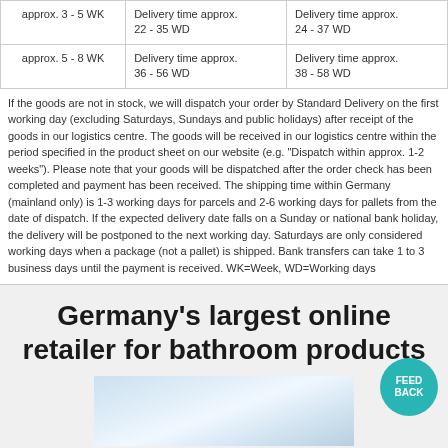| approx. 3 - 5 WK | Delivery time approx. 22 - 35 WD | Delivery time approx. 24 - 37 WD |
| approx. 5 - 8 WK | Delivery time approx. 36 - 56 WD | Delivery time approx. 38 - 58 WD |
If the goods are not in stock, we will dispatch your order by Standard Delivery on the first working day (excluding Saturdays, Sundays and public holidays) after receipt of the goods in our logistics centre. The goods will be received in our logistics centre within the period specified in the product sheet on our website (e.g. "Dispatch within approx. 1-2 weeks"). Please note that your goods will be dispatched after the order check has been completed and payment has been received. The shipping time within Germany (mainland only) is 1-3 working days for parcels and 2-6 working days for pallets from the date of dispatch. If the expected delivery date falls on a Sunday or national bank holiday, the delivery will be postponed to the next working day. Saturdays are only considered working days when a package (not a pallet) is shipped. Bank transfers can take 1 to 3 business days until the payment is received. WK=Week, WD=Working days
Germany's largest online retailer for bathroom products
[Figure (photo): Photo of person in light blue shirt holding a tablet, partial view]